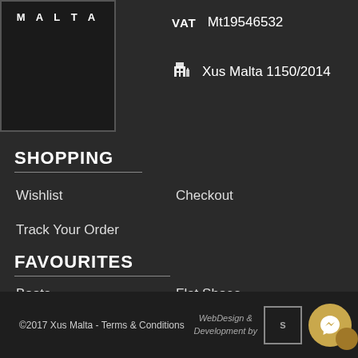[Figure (logo): Malta brand logo – white text 'MALTA' on black background with border]
VAT  Mt19546532
Xus Malta 1150/2014
SHOPPING
Wishlist
Checkout
Track Your Order
FAVOURITES
Boots
Flat Shoes
Pumps
Occasional
©2017 Xus Malta - Terms & Conditions  WebDesign & Development by